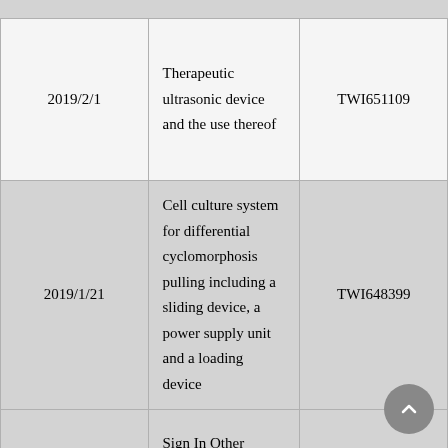| 2019/2/1 | Therapeutic ultrasonic device and the use thereof | TWI651109 |
| 2019/1/21 | Cell culture system for differential cyclomorphosis pulling including a sliding device, a power supply unit and a loading device | TWI648399 |
|  | Sign In Other ... |  |